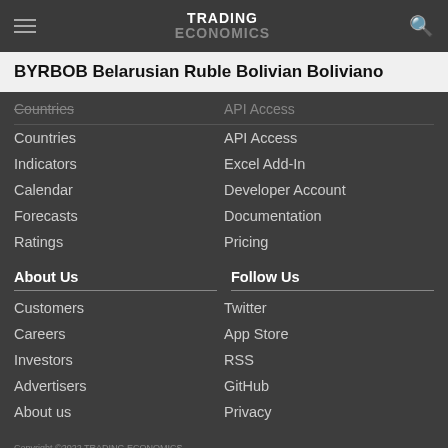TRADING ECONOMICS
BYRBOB Belarusian Ruble Bolivian Boliviano
Countries
Indicators
Calendar
Forecasts
Ratings
API Access
Excel Add-In
Developer Account
Documentation
Pricing
About Us
Follow Us
Customers
Careers
Investors
Advertisers
About us
Twitter
App Store
RSS
GitHub
Privacy
Copyright ©2022 TRADING ECONOMICS
All Rights Reserved